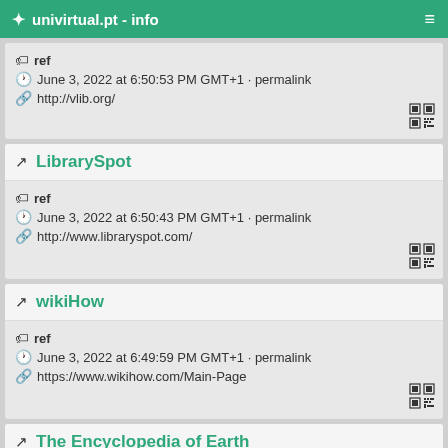univirtual.pt - info
ref
June 3, 2022 at 6:50:53 PM GMT+1 · permalink
http://vlib.org/
LibrarySpot
ref
June 3, 2022 at 6:50:43 PM GMT+1 · permalink
http://www.libraryspot.com/
wikiHow
ref
June 3, 2022 at 6:49:59 PM GMT+1 · permalink
https://www.wikihow.com/Main-Page
The Encyclopedia of Earth
ref